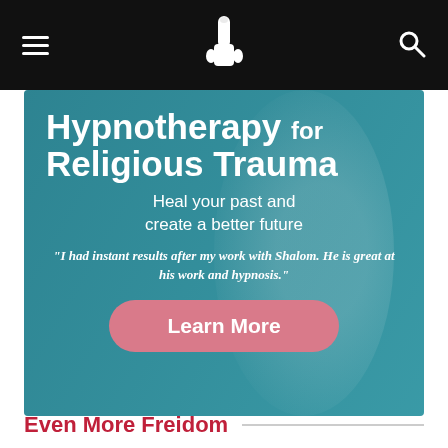Navigation bar with hamburger menu, logo (hand icon), and search icon
[Figure (illustration): Hypnotherapy for Religious Trauma promotional banner on teal background. Large bold white text reads 'Hypnotherapy for Religious Trauma'. Subtitle: 'Heal your past and create a better future'. Quote: '"I had instant results after my work with Shalom. He is great at his work and hypnosis."' Pink rounded button labeled 'Learn More'.]
Even More Freidom